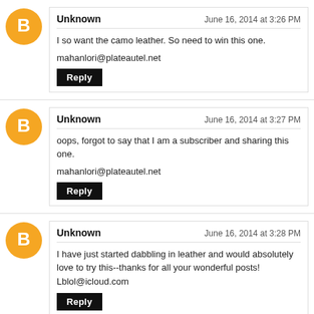Unknown — June 16, 2014 at 3:26 PM
I so want the camo leather. So need to win this one.
mahanlori@plateautel.net
Reply
Unknown — June 16, 2014 at 3:27 PM
oops, forgot to say that I am a subscriber and sharing this one.
mahanlori@plateautel.net
Reply
Unknown — June 16, 2014 at 3:28 PM
I have just started dabbling in leather and would absolutely love to try this--thanks for all your wonderful posts!
Lblol@icloud.com
Reply